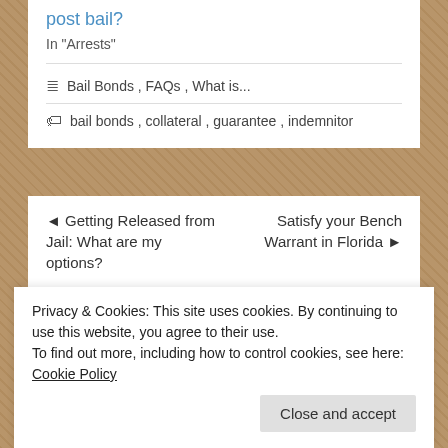post bail?
In "Arrests"
≡ Bail Bonds , FAQs , What is...
🏷 bail bonds , collateral , guarantee , indemnitor
◄ Getting Released from Jail: What are my options?
Satisfy your Bench Warrant in Florida ►
Privacy & Cookies: This site uses cookies. By continuing to use this website, you agree to their use.
To find out more, including how to control cookies, see here: Cookie Policy
Close and accept